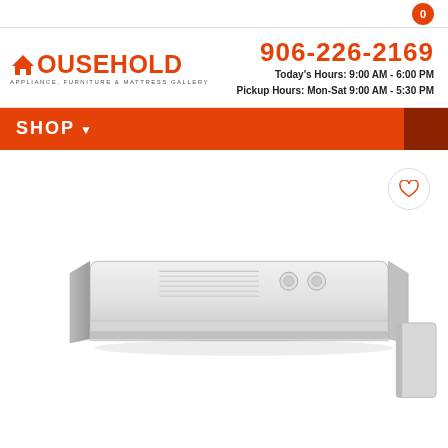0
[Figure (logo): Household Appliance, Furniture & Mattress Gallery logo in orange]
906-226-2169
Today's Hours: 9:00 AM - 6:00 PM
Pickup Hours: Mon-Sat 9:00 AM - 5:30 PM
SHOP
[Figure (photo): White under-cabinet range hood kitchen appliance with controls visible on top surface]